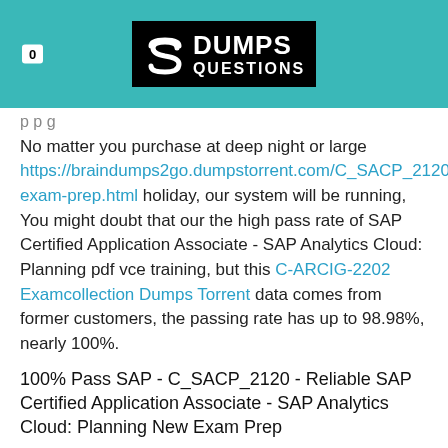0  DUMPS QUESTIONS
No matter you purchase at deep night or large https://braindumps2go.dumpstorrent.com/C_SACP_2120-exam-prep.html holiday, our system will be running, You might doubt that our the high pass rate of SAP Certified Application Associate - SAP Analytics Cloud: Planning pdf vce training, but this C-ARCIG-2202 Examcollection Dumps Torrent data comes from former customers, the passing rate has up to 98.98%, nearly 100%.
100% Pass SAP - C_SACP_2120 - Reliable SAP Certified Application Associate - SAP Analytics Cloud: Planning New Exam Prep
With the 6 year's development we are becoming the leading enterprise in providing valid and latest C_SACP_2120 exam questions and answers with high passing rate, And also it is suitable to every kind of digital devices...